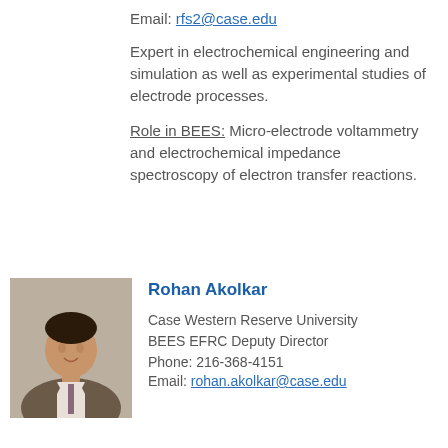Email: rfs2@case.edu
Expert in electrochemical engineering and simulation as well as experimental studies of electrode processes.
Role in BEES: Micro-electrode voltammetry and electrochemical impedance spectroscopy of electron transfer reactions.
[Figure (photo): Headshot photo of Rohan Akolkar, a man in a suit and tie]
Rohan Akolkar
Case Western Reserve University
BEES EFRC Deputy Director
Phone: 216-368-4151
Email: rohan.akolkar@case.edu